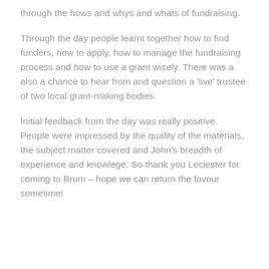through the hows and whys and whats of fundraising.
Through the day people learnt together how to find funders, how to apply, how to manage the fundraising process and how to use a grant wisely. There was a also a chance to hear from and question a 'live' trustee of two local grant-making bodies.
Initial feedback from the day was really positive. People were impressed by the quality of the materials, the subject matter covered and John's breadth of experience and knowlege. So thank you Leciester for coming to Brum – hope we can return the favour sometime!